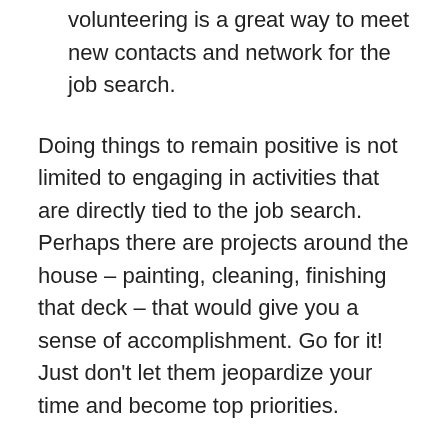volunteering is a great way to meet new contacts and network for the job search.
Doing things to remain positive is not limited to engaging in activities that are directly tied to the job search. Perhaps there are projects around the house – painting, cleaning, finishing that deck – that would give you a sense of accomplishment. Go for it! Just don't let them jeopardize your time and become top priorities.
Related: We really want you to stay positive